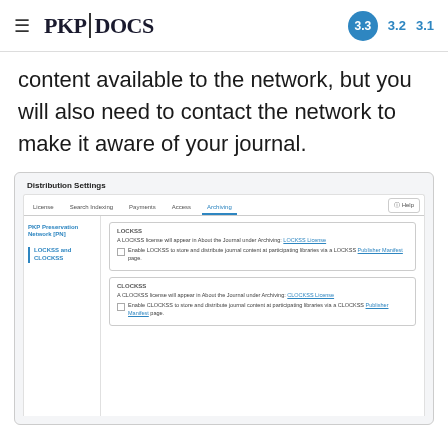PKP|DOCS  3.3  3.2  3.1
content available to the network, but you will also need to contact the network to make it aware of your journal.
[Figure (screenshot): Screenshot of PKP/OJS Distribution Settings page showing the Archiving tab with LOCKSS and CLOCKSS sections. The LOCKSS section shows a license note and a checkbox to enable LOCKSS. The CLOCKSS section shows a license note and a checkbox to enable CLOCKSS.]